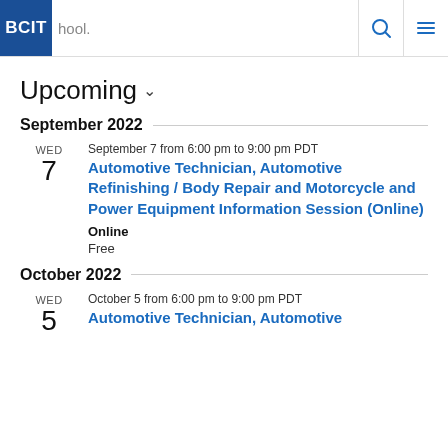BCIT | school. [search icon] [menu icon]
Upcoming
September 2022
September 7 from 6:00 pm to 9:00 pm PDT
Automotive Technician, Automotive Refinishing / Body Repair and Motorcycle and Power Equipment Information Session (Online)
Online
Free
October 2022
October 5 from 6:00 pm to 9:00 pm PDT
Automotive Technician, Automotive